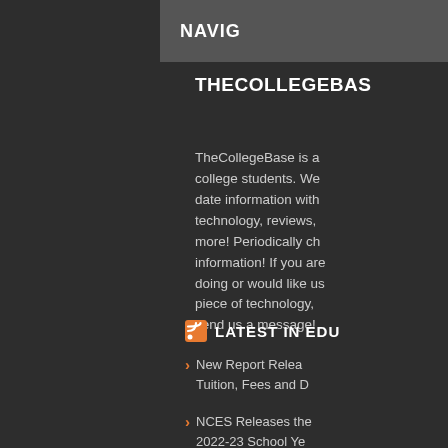NAVIG
THECOLLEGEBAS
TheCollegeBase is a college students. We date information with technology, reviews, more! Periodically ch information! If you are doing or would like us piece of technology, send us a message!
LATEST IN EDU
New Report Relea Tuition, Fees and D
NCES Releases the 2022-23 School Ye
Revised SY 2021-2 Preliminary Data Fi